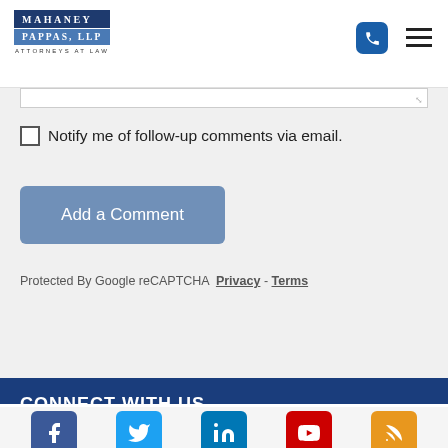[Figure (logo): Mahaney Pappas LLP Attorneys at Law logo with blue background]
□ Notify me of follow-up comments via email.
Add a Comment
Protected By Google reCAPTCHA Privacy - Terms
CONNECT WITH US
[Figure (infographic): Social media icons: Facebook, Twitter, LinkedIn, YouTube, RSS]